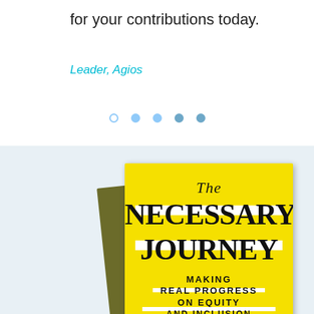for your contributions today.
Leader, Agios
[Figure (other): Pagination dots: one empty circle followed by four filled circles in light blue]
[Figure (photo): Book cover of 'The Necessary Journey: Making Real Progress on Equity and Inclusion' — bright yellow cover with bold serif title text, with an olive-green book behind it, set against a light blue-gray background]